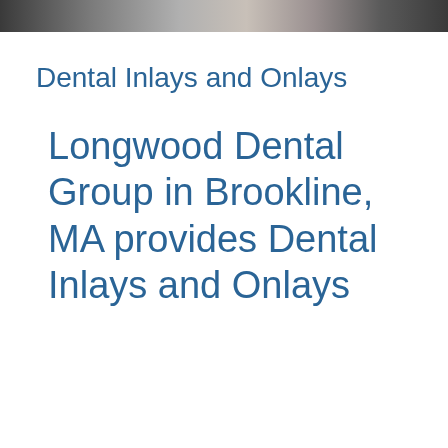[Figure (photo): Partial photo strip at top of page showing a dental office or dental procedure scene]
Dental Inlays and Onlays
Longwood Dental Group in Brookline, MA provides Dental Inlays and Onlays